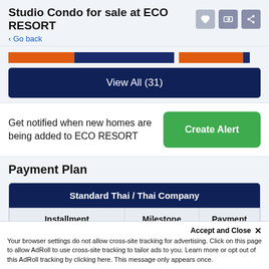Studio Condo for sale at ECO RESORT
< Go back
[Figure (screenshot): Partial view of property image strip with orange and navy colored bars]
View All (31)
Get notified when new homes are being added to ECO RESORT
Create Alert
Payment Plan
| Installment | Milestone | Payment |
| --- | --- | --- |
| Reservation Deposit | Immediately | ฿20,000 |
Accept and Close ✕
Your browser settings do not allow cross-site tracking for advertising. Click on this page to allow AdRoll to use cross-site tracking to tailor ads to you. Learn more or opt out of this AdRoll tracking by clicking here. This message only appears once.